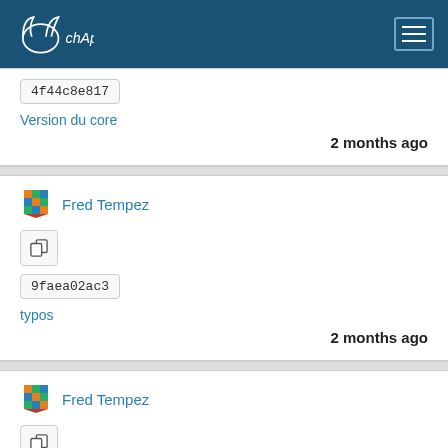chApril
4f44c8e817
Version du core
2 months ago
Fred Tempez
9faea02ac3
typos
2 months ago
Fred Tempez
67aea648eb
11504 bug API Google